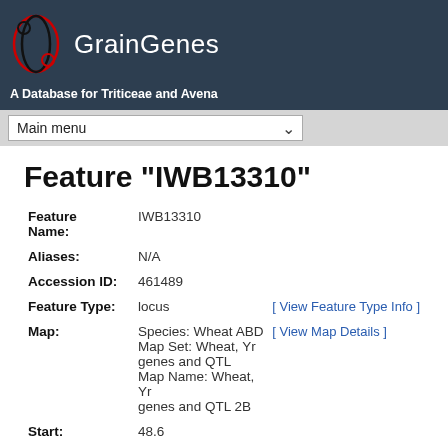GrainGenes — A Database for Triticeae and Avena
Feature "IWB13310"
| Field | Value | Link |
| --- | --- | --- |
| Feature Name: | IWB13310 |  |
| Aliases: | N/A |  |
| Accession ID: | 461489 |  |
| Feature Type: | locus | [ View Feature Type Info ] |
| Map: | Species: Wheat ABD
Map Set: Wheat, Yr genes and QTL
Map Name: Wheat, Yr genes and QTL 2B | [ View Map Details ] |
| Start: | 48.6 |  |
| Stop: | 48.6 |  |